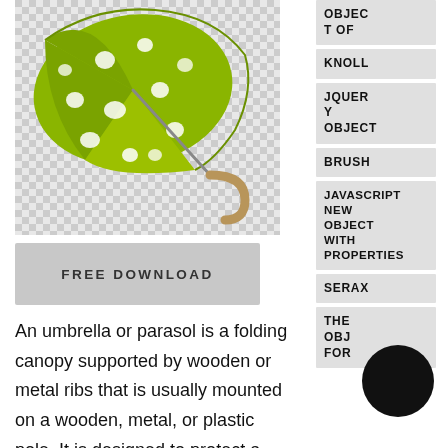[Figure (illustration): A green polka-dotted umbrella with a wooden handle on a transparent (checkered) background]
FREE DOWNLOAD
An umbrella or parasol is a folding canopy supported by wooden or metal ribs that is usually mounted on a wooden, metal, or plastic pole. It is designed to protect a person against rain or sunlight. The term umbrella is traditionally used when protecting oneself from rain, with parasol used when protecting oneself
OBJECT OF
KNOLL
JQUERY OBJECT
BRUSH
JAVASCRIPT NEW OBJECT WITH PROPERTIES
SERAX
THE OBJECT FOR